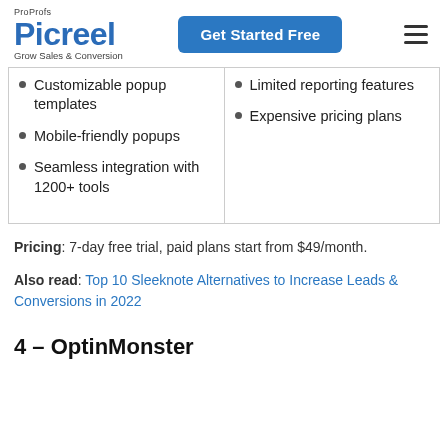ProProfs Picreel – Grow Sales & Conversion | Get Started Free
Customizable popup templates
Mobile-friendly popups
Seamless integration with 1200+ tools
Limited reporting features
Expensive pricing plans
Pricing: 7-day free trial, paid plans start from $49/month.
Also read: Top 10 Sleeknote Alternatives to Increase Leads & Conversions in 2022
4 – OptinMonster